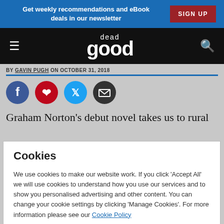Get weekly recommendations and eBook deals in our newsletter | SIGN UP
dead good
BY GAVIN PUGH ON OCTOBER 31, 2018
[Figure (infographic): Row of social sharing icons: Facebook (blue circle), Pinterest (red circle), Twitter (cyan circle), Email (dark circle)]
Graham Norton's debut novel takes us to rural
Cookies
We use cookies to make our website work. If you click 'Accept All' we will use cookies to understand how you use our services and to show you personalised advertising and other content. You can change your cookie settings by clicking 'Manage Cookies'. For more information please see our Cookie Policy